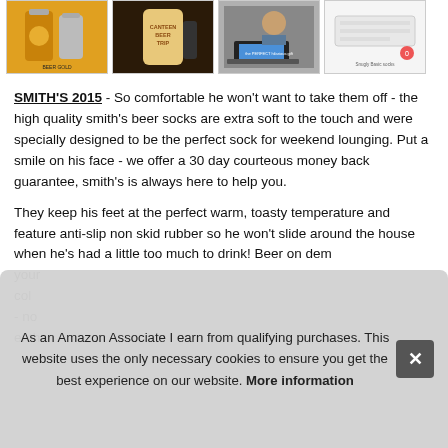[Figure (photo): Four product thumbnail images in a row showing beer-related gift items including beer cans, beer socks packaging, a person, and a white item]
SMITH'S 2015 - So comfortable he won't want to take them off - the high quality smith's beer socks are extra soft to the touch and were specially designed to be the perfect sock for weekend lounging. Put a smile on his face - we offer a 30 day courteous money back guarantee, smith's is always here to help you.
They keep his feet at the perfect warm, toasty temperature and feature anti-slip non skid rubber so he won't slide around the house when he's had a little too much to drink! Beer on dem your col - no enth
As an Amazon Associate I earn from qualifying purchases. This website uses the only necessary cookies to ensure you get the best experience on our website. More information